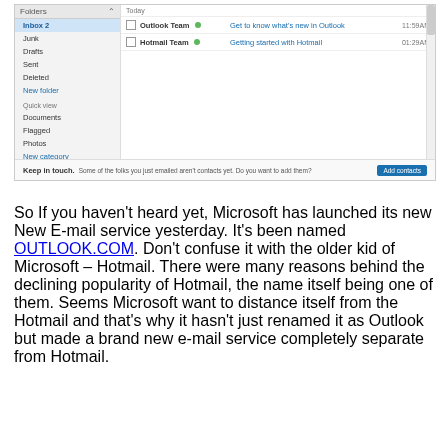[Figure (screenshot): Screenshot of Outlook.com/Hotmail email interface showing sidebar with Inbox, Junk, Drafts, Sent, Deleted, New folder, Quick view, Documents, Flagged, Photos, New category; main area with emails from Outlook Team and Hotmail Team; Keep in touch bar at the bottom.]
So If you haven't heard yet, Microsoft has launched its new New E-mail service yesterday. It's been named OUTLOOK.COM. Don't confuse it with the older kid of Microsoft – Hotmail. There were many reasons behind the declining popularity of Hotmail, the name itself being one of them. Seems Microsoft want to distance itself from the Hotmail and that's why it hasn't just renamed it as Outlook but made a brand new e-mail service completely separate from Hotmail.